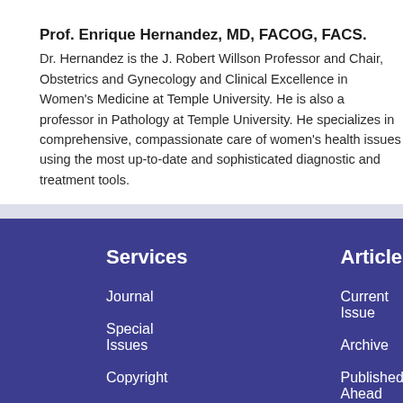Prof. Enrique Hernandez, MD, FACOG, FACS.
Dr. Hernandez is the J. Robert Willson Professor and Chair, Obstetrics and Gynecology and Clinical Excellence in Women’s Medicine at Temple University. He is also a professor in Pathology at Temple University. He specializes in comprehensive, compassionate care of women’s health issues using the most up-to-date and sophisticated diagnostic and treatment tools.
Services
Journal
Special Issues
Copyright
Articles
Current Issue
Archive
Published Ahead